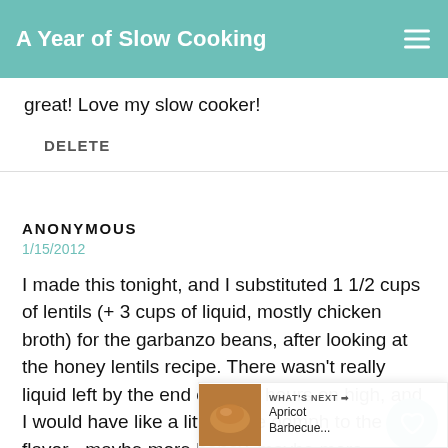A Year of Slow Cooking
great! Love my slow cooker!
DELETE
ANONYMOUS
1/15/2012
I made this tonight, and I substituted 1 1/2 cups of lentils (+ 3 cups of liquid, mostly chicken broth) for the garbanzo beans, after looking at the honey lentils recipe. There wasn't really liquid left by the end of the 3 hours on high, and I would have like a little more oomph to the flavor - maybe more honey, maybe more cumin? Maybe it's the fact that we don't... The flavor is nice, though, if subtle, and I'd try it again. We didn't have cream cheese, so maybe